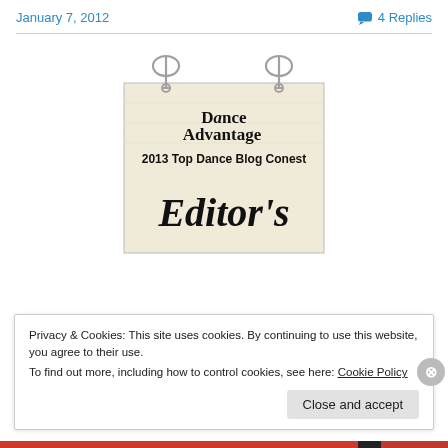January 7, 2012    💬 4 Replies
[Figure (illustration): Dance Advantage 2013 Top Dance Blog Contest badge showing 'Editor's' text on a paper-like background held by two safety pins]
Privacy & Cookies: This site uses cookies. By continuing to use this website, you agree to their use.
To find out more, including how to control cookies, see here: Cookie Policy
Close and accept